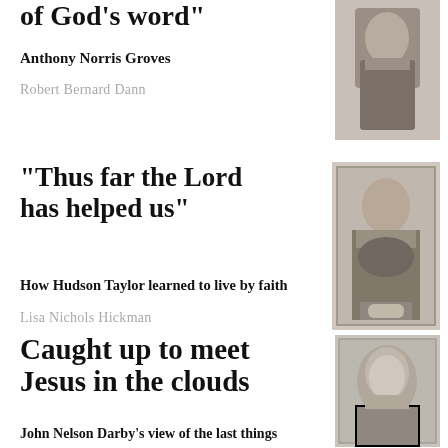of God's word"
Anthony Norris Groves
Robert Bernard Dann
[Figure (photo): Black and white portrait photograph of a man in Victorian-era clothing]
"Thus far the Lord has helped us"
How Hudson Taylor learned to live by faith
Lisa Nichols Hickman
[Figure (photo): Black and white photograph of an elderly bearded man seated, wearing dark robes, likely Hudson Taylor]
Caught up to meet Jesus in the clouds
John Nelson Darby's view of the last things has dramatically outlived him
[Figure (photo): Grayscale portrait of a man, likely John Nelson Darby]